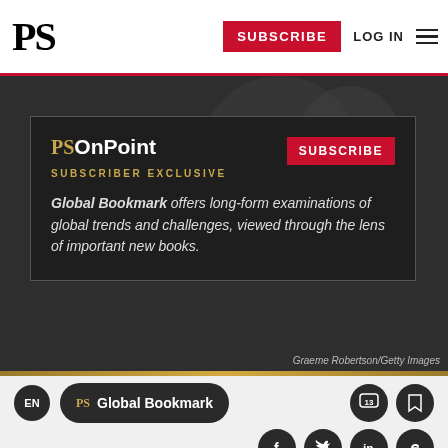PS | SUBSCRIBE | LOG IN
[Figure (screenshot): PS OnPoint subscriber exclusive promotional box with dark background showing 'Global Bookmark offers long-form examinations of global trends and challenges, viewed through the lens of important new books.' with SUBSCRIBE button. Photo credit: Graeme Robertson/Getty Images]
EN | PS Global Bookmark
Social share icons: Facebook, Twitter, LinkedIn, Link